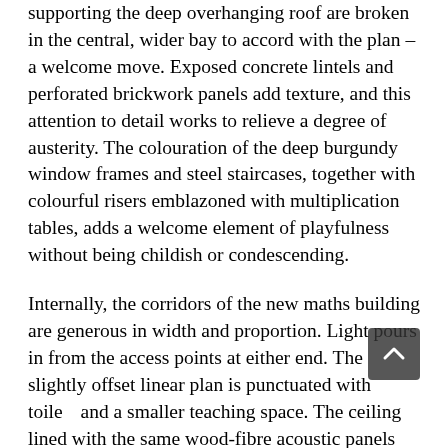supporting the deep overhanging roof are broken in the central, wider bay to accord with the plan – a welcome move. Exposed concrete lintels and perforated brickwork panels add texture, and this attention to detail works to relieve a degree of austerity. The colouration of the deep burgundy window frames and steel staircases, together with colourful risers emblazoned with multiplication tables, adds a welcome element of playfulness without being childish or condescending.
Internally, the corridors of the new maths building are generous in width and proportion. Light pours in from the access points at either end. The slightly offset linear plan is punctuated with toilets and a smaller teaching space. The ceiling is lined with the same wood-fibre acoustic panels and long linear LED light strips as the